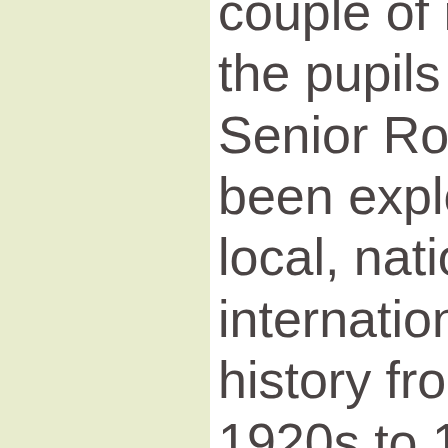couple of months, the pupils in the Senior Room have been exploring local, national and international history from the 1920s to 1940s with a focus on World War II, about William S... in America in 19...